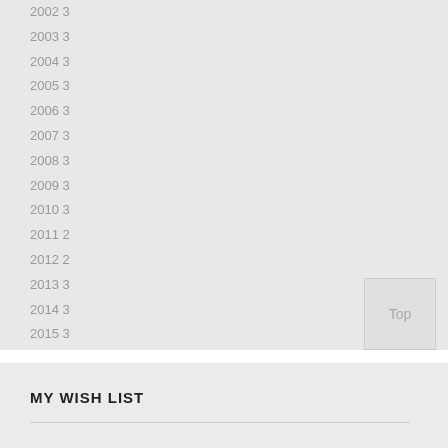2002 3
2003 3
2004 3
2005 3
2006 3
2007 3
2008 3
2009 3
2010 3
2011 2
2012 2
2013 3
2014 3
2015 3
2016 3
2017 1
2018 1
2019 1
MY WISH LIST